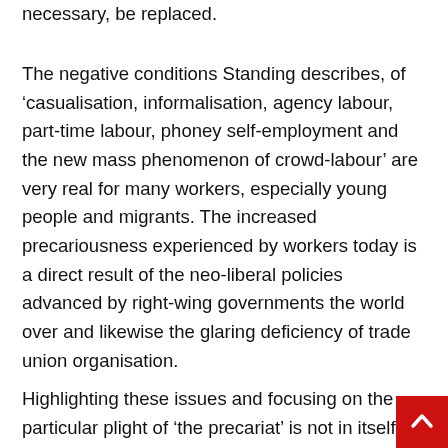necessary, be replaced.
The negative conditions Standing describes, of ‘casualisation, informalisation, agency labour, part-time labour, phoney self-employment and the new mass phenomenon of crowd-labour’ are very real for many workers, especially young people and migrants. The increased precariousness experienced by workers today is a direct result of the neo-liberal policies advanced by right-wing governments the world over and likewise the glaring deficiency of trade union organisation.
Highlighting these issues and focusing on the particular plight of ‘the precariat’ is not in itself a